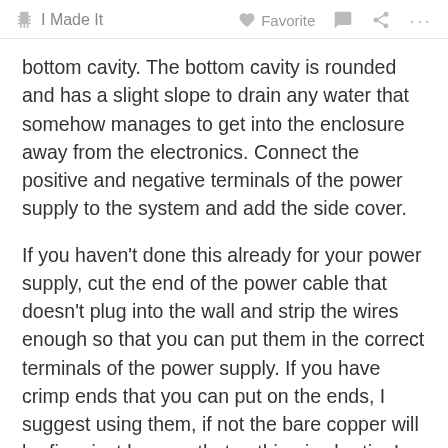🖐 I Made It    ♡ Favorite    💬    ⬡    ···
bottom cavity. The bottom cavity is rounded and has a slight slope to drain any water that somehow manages to get into the enclosure away from the electronics. Connect the positive and negative terminals of the power supply to the system and add the side cover.
If you haven't done this already for your power supply, cut the end of the power cable that doesn't plug into the wall and strip the wires enough so that you can put them in the correct terminals of the power supply. If you have crimp ends that you can put on the ends, I suggest using them, if not the bare copper will be fine, just be sure that nothing is shorting! REMEMBER that this will be plugged into your home's wall power. BE SAFE AND NEVER WORK